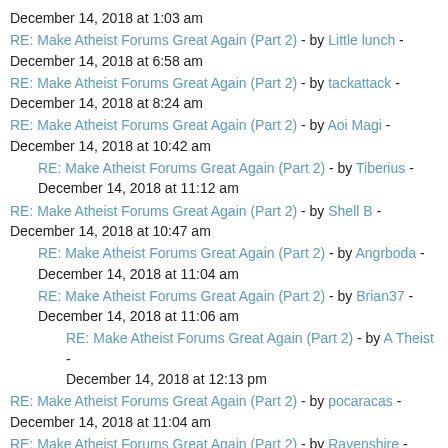December 14, 2018 at 1:03 am
RE: Make Atheist Forums Great Again (Part 2) - by Little lunch - December 14, 2018 at 6:58 am
RE: Make Atheist Forums Great Again (Part 2) - by tackattack - December 14, 2018 at 8:24 am
RE: Make Atheist Forums Great Again (Part 2) - by Aoi Magi - December 14, 2018 at 10:42 am
RE: Make Atheist Forums Great Again (Part 2) - by Tiberius - December 14, 2018 at 11:12 am
RE: Make Atheist Forums Great Again (Part 2) - by Shell B - December 14, 2018 at 10:47 am
RE: Make Atheist Forums Great Again (Part 2) - by Angrboda - December 14, 2018 at 11:04 am
RE: Make Atheist Forums Great Again (Part 2) - by Brian37 - December 14, 2018 at 11:06 am
RE: Make Atheist Forums Great Again (Part 2) - by A Theist - December 14, 2018 at 12:13 pm
RE: Make Atheist Forums Great Again (Part 2) - by pocaracas - December 14, 2018 at 11:04 am
RE: Make Atheist Forums Great Again (Part 2) - by Ravenshire - December 18, 2018 at 1:49 am
RE: Make Atheist Forums Great Again (Part 2) - by Maketakunai - December 18, 2018 at 2:53 am